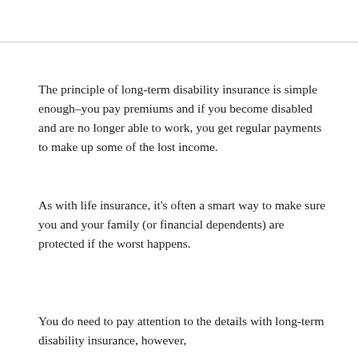The principle of long-term disability insurance is simple enough–you pay premiums and if you become disabled and are no longer able to work, you get regular payments to make up some of the lost income.
As with life insurance, it's often a smart way to make sure you and your family (or financial dependents) are protected if the worst happens.
You do need to pay attention to the details with long-term disability insurance, however,